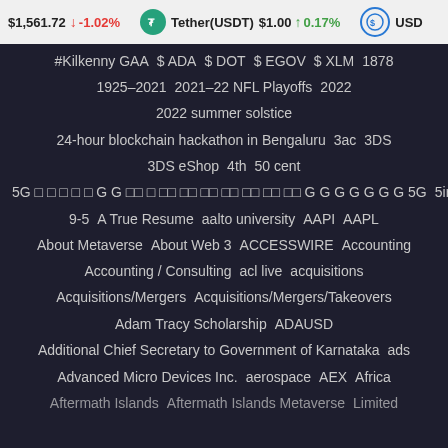$1,561.72 -1.02% Tether(USDT) $1.00 0.17% USD
#Kilkenny GAA   $ ADA   $ DOT   $ EGOV   $ XLM   1878
1925–2021   2021–22 NFL Playoffs   2022
2022 summer solstice
24-hour blockchain hackathon in Bengaluru   3ac   3DS
3DS eShop   4th   50 cent
5G □ □ □ □ □ G G □□ □ □□ □□ □□ □□ □□ □□ □□ G G G G G G G 5G   5ire
9-5   A True Resume   aalto university   AAPI   AAPL
About Metaverse   About Web 3   ACCESSWIRE   Accounting
Accounting / Consulting   acl live   acquisitions
Acquisitions/Mergers   Acquisitions/Mergers/Takeovers
Adam Tracy Scholarship   ADAUSD
Additional Chief Secretary to Government of Karnataka   ads
Advanced Micro Devices Inc.   aerospace   AEX   Africa
Aftermath Islands   Aftermath Islands Metaverse   Limited